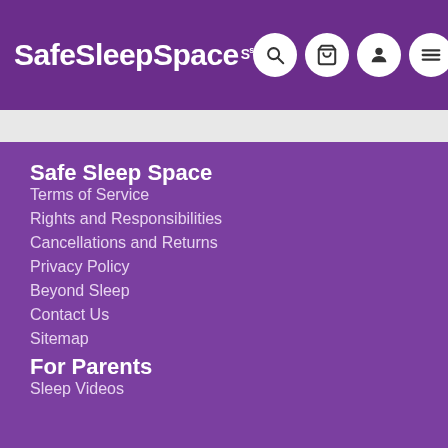SafeSleepSpace
Safe Sleep Space
Terms of Service
Rights and Responsibilities
Cancellations and Returns
Privacy Policy
Beyond Sleep
Contact Us
Sitemap
For Parents
Sleep Videos